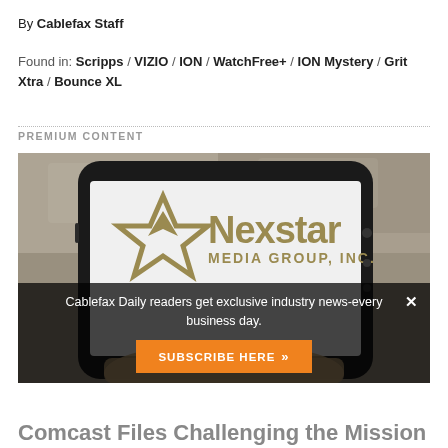By Cablefax Staff
Found in: Scripps / VIZIO / ION / WatchFree+ / ION Mystery / Grit Xtra / Bounce XL
PREMIUM CONTENT
[Figure (photo): A hand holding a smartphone displaying the Nexstar Media Group, Inc. logo on its screen, with a blurred background.]
Cablefax Daily readers get exclusive industry news-every business day.
SUBSCRIBE HERE »
Comcast Files Challenging the Mission